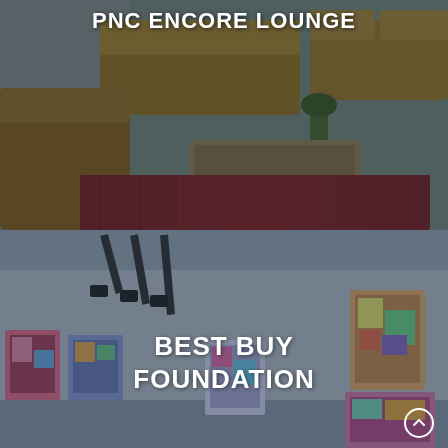[Figure (photo): Interior of PNC Encore Lounge showing brown leather sofas and chairs arranged around a rustic wooden coffee table on a red patterned rug, with brick walls in the background. Image has a dark blue overlay tint.]
PNC ENCORE LOUNGE
[Figure (photo): Interior of an art gallery space with colorful abstract paintings mounted on white walls and track lighting hanging from the ceiling. Image has a dark blue/grey overlay tint. Best Buy Foundation label is overlaid.]
BEST BUY FOUNDATION